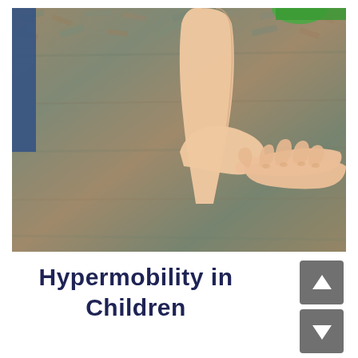[Figure (photo): Close-up photo of a young child crawling or standing on a carpeted floor. The child's arm and hand are visible pressing flat against the multicolored carpet, showing joint hypermobility. A green object is partially visible at the top. An adult in jeans is visible at the left edge.]
Hypermobility in Children